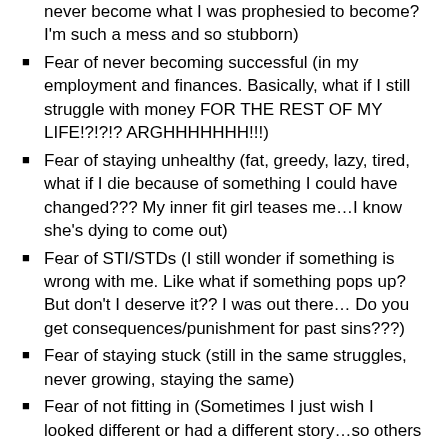Fear of disappointment/failure (because what if I never become what I was prophesied to become? I'm such a mess and so stubborn)
Fear of never becoming successful (in my employment and finances. Basically, what if I still struggle with money FOR THE REST OF MY LIFE!?!?!? ARGHHHHHHH!!!)
Fear of staying unhealthy (fat, greedy, lazy, tired, what if I die because of something I could have changed??? My inner fit girl teases me…I know she's dying to come out)
Fear of STI/STDs (I still wonder if something is wrong with me. Like what if something pops up? But don't I deserve it?? I was out there… Do you get consequences/punishment for past sins???)
Fear of staying stuck (still in the same struggles, never growing, staying the same)
Fear of not fitting in (Sometimes I just wish I looked different or had a different story…so others